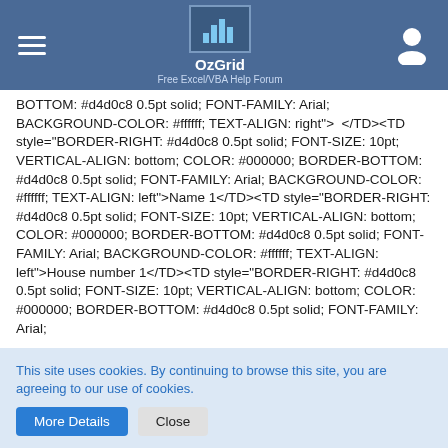OzGrid — Free Excel/VBA Help Forum
BOTTOM: #d4d0c8 0.5pt solid; FONT-FAMILY: Arial; BACKGROUND-COLOR: #ffffff; TEXT-ALIGN: right"&gt;&nbsp;</TD&gt;<TD style="BORDER-RIGHT: #d4d0c8 0.5pt solid; FONT-SIZE: 10pt; VERTICAL-ALIGN: bottom; COLOR: #000000; BORDER-BOTTOM: #d4d0c8 0.5pt solid; FONT-FAMILY: Arial; BACKGROUND-COLOR: #ffffff; TEXT-ALIGN: left"&gt;Name&nbsp;1</TD&gt;<TD style="BORDER-RIGHT: #d4d0c8 0.5pt solid; FONT-SIZE: 10pt; VERTICAL-ALIGN: bottom; COLOR: #000000; BORDER-BOTTOM: #d4d0c8 0.5pt solid; FONT-FAMILY: Arial; BACKGROUND-COLOR: #ffffff; TEXT-ALIGN: left"&gt;House&nbsp;number&nbsp;1</TD&gt;<TD style="BORDER-RIGHT: #d4d0c8 0.5pt solid; FONT-SIZE: 10pt; VERTICAL-ALIGN: bottom; COLOR: #000000; BORDER-BOTTOM: #d4d0c8 0.5pt solid; FONT-FAMILY: Arial;
This site uses cookies. By continuing to browse this site, you are agreeing to our use of cookies.
More Details   Close